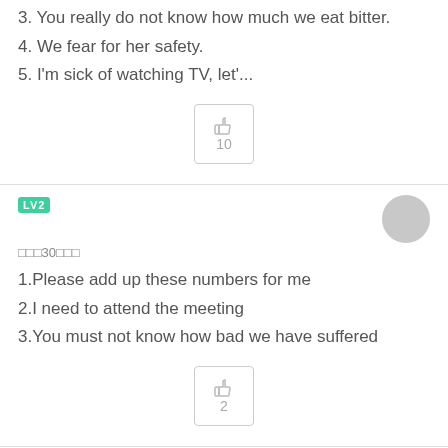3. You really do not know how much we eat bitter.
4. We fear for her safety.
5. I'm sick of watching TV, let'...
[Figure (other): Like button with count 10]
[Figure (other): LV2 user badge]
30 minutes ago
1.Please add up these numbers for me
2.I need to attend the meeting
3.You must not know how bad we have suffered
[Figure (other): Like button with count 2]
[Figure (other): LV1 user badge]
25 minutes ago
1.Please help me to add up these figures.